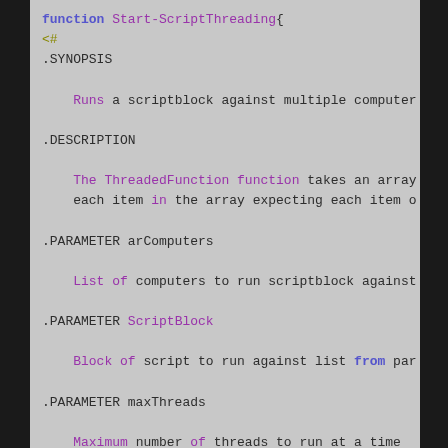[Figure (screenshot): PowerShell code editor screenshot showing a function Start-ScriptThreading with comment-based help including .SYNOPSIS, .DESCRIPTION, .PARAMETER arComputers, .PARAMETER ScriptBlock, .PARAMETER maxThreads, and .PARAMETER SleepTimer sections. Dark background on sides, gray code area. Syntax highlighting: function keyword in bold blue, section keywords in olive/yellow, parameter names and some keywords in purple, plain text in dark gray.]